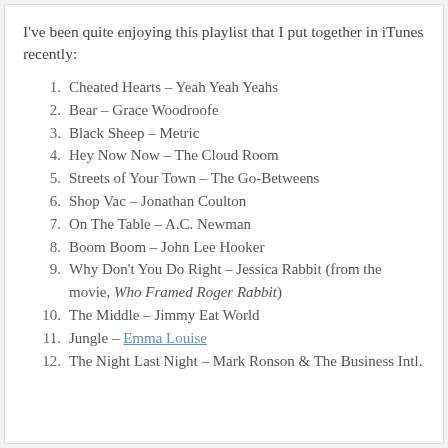I've been quite enjoying this playlist that I put together in iTunes recently:
1. Cheated Hearts – Yeah Yeah Yeahs
2. Bear – Grace Woodroofe
3. Black Sheep – Metric
4. Hey Now Now – The Cloud Room
5. Streets of Your Town – The Go-Betweens
6. Shop Vac – Jonathan Coulton
7. On The Table – A.C. Newman
8. Boom Boom – John Lee Hooker
9. Why Don't You Do Right – Jessica Rabbit (from the movie, Who Framed Roger Rabbit)
10. The Middle – Jimmy Eat World
11. Jungle – Emma Louise
12. The Night Last Night – Mark Ronson & The Business Intl.